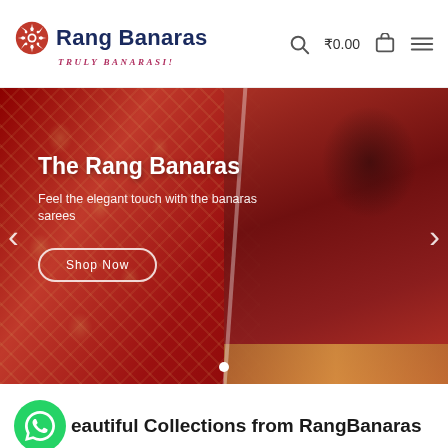Rang Banaras - TRULY BANARASI! ₹0.00
[Figure (screenshot): Hero banner showing red Banarasi saree fabric on the left and a woman wearing a red Banarasi saree on the right, with text overlay 'The Rang Banaras', subtitle 'Feel the elegant touch with the banaras sarees', and a 'Shop Now' button. Navigation arrows on sides and one dot indicator at bottom.]
Beautiful Collections from RangBanaras
Find the best elegant designs of your own choice from rang banaras